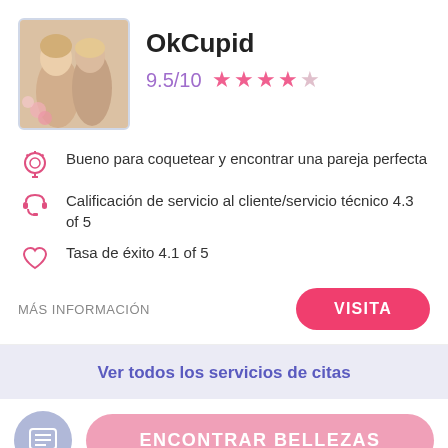[Figure (photo): Photo of two women, one whispering to the other, with flowers in background]
OkCupid
9.5/10 ★★★★☆
Bueno para coquetear y encontrar una pareja perfecta
Calificación de servicio al cliente/servicio técnico 4.3 of 5
Tasa de éxito 4.1 of 5
MÁS INFORMACIÓN
VISITA
Ver todos los servicios de citas
ENCONTRAR BELLEZAS
Euan Barker